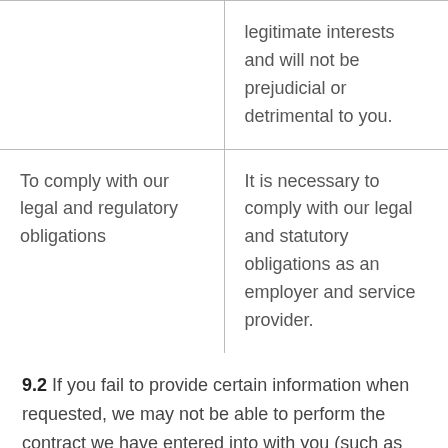|  | legitimate interests and will not be prejudicial or detrimental to you. |
| To comply with our legal and regulatory obligations | It is necessary to comply with our legal and statutory obligations as an employer and service provider. |
9.2 If you fail to provide certain information when requested, we may not be able to perform the contract we have entered into with you (such as paying you or providing a benefit), or we may be prevented from complying with our legal obligations (such as to ensure the health and safety of our Employees, Contractors and